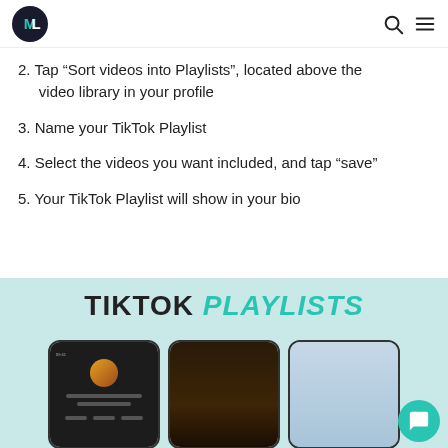ML logo and navigation
2. Tap “Sort videos into Playlists”, located above the video library in your profile
3. Name your TikTok Playlist
4. Select the videos you want included, and tap “save”
5. Your TikTok Playlist will show in your bio
[Figure (screenshot): Infographic showing TikTok Playlists with the text TIKTOK PLAYLISTS and three phone mockup screenshots demonstrating the playlist feature]